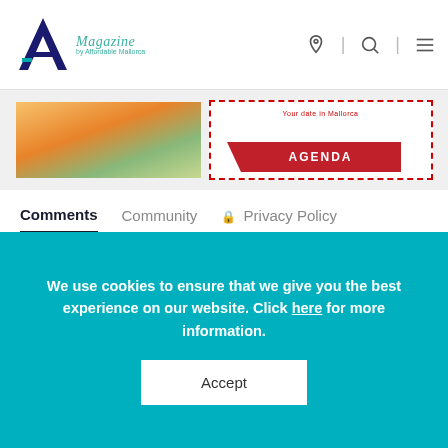[Figure (logo): A-Magazine by Affordable Mallorca logo with teal A letter and cursive magazine text]
[Figure (screenshot): Banner advertisement with fruit/food image on the left and an Agenda red button on the right with dashed red border]
Comments   Community   Privacy Policy
Login ▾
♡ Favorite   Sort by Best ▾
Start the discussion...
We use cookies to ensure that we give you the best experience on our website. Click here for more information.
Accept